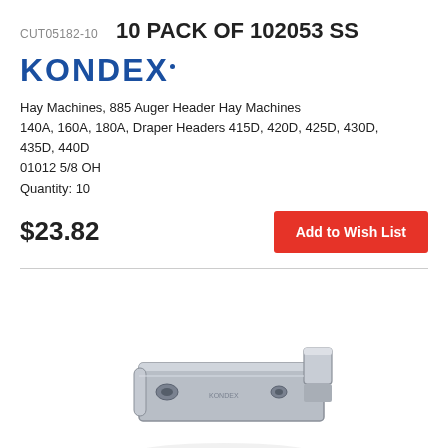CUT05182-10    10 PACK OF 102053 SS
[Figure (logo): KONDEX brand logo in bold blue letters with a registered trademark dot]
Hay Machines, 885 Auger Header Hay Machines 140A, 160A, 180A, Draper Headers 415D, 420D, 425D, 430D, 435D, 440D
01012 5/8 OH
Quantity: 10
$23.82
Add to Wish List
[Figure (photo): A metal bracket or clip part (stainless steel), photographed against a white background, showing a flat bracket with punched holes and a folded tab.]